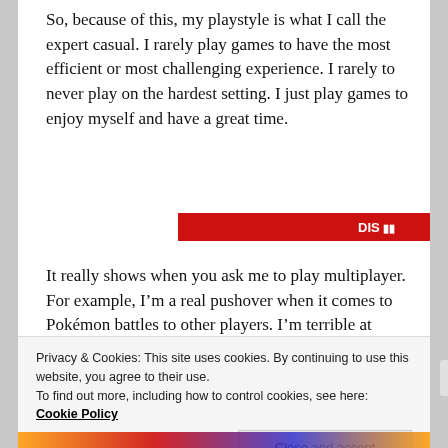So, because of this, my playstyle is what I call the expert casual. I rarely play games to have the most efficient or most challenging experience. I rarely to never play on the hardest setting. I just play games to enjoy myself and have a great time.
[Figure (other): Advertisements label with a red banner ad below it containing partial text/image]
It really shows when you ask me to play multiplayer. For example, I’m a real pushover when it comes to Pokémon battles to other players. I’m terrible at remembering meta gameplay. But, I don’t mind that I’m not that good
Privacy & Cookies: This site uses cookies. By continuing to use this website, you agree to their use.
To find out more, including how to control cookies, see here: Cookie Policy
Close and accept